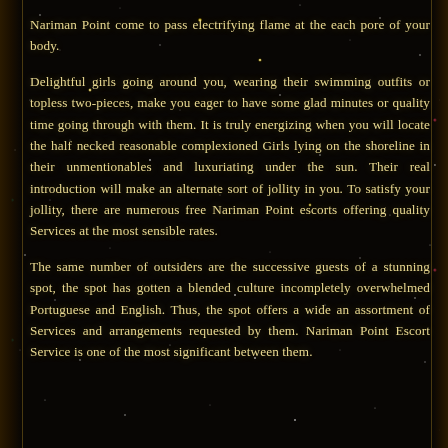Nariman Point come to pass electrifying flame at the each pore of your body.
Delightful girls going around you, wearing their swimming outfits or topless two-pieces, make you eager to have some glad minutes or quality time going through with them. It is truly energizing when you will locate the half necked reasonable complexioned Girls lying on the shoreline in their unmentionables and luxuriating under the sun. Their real introduction will make an alternate sort of jollity in you. To satisfy your jollity, there are numerous free Nariman Point escorts offering quality Services at the most sensible rates.
The same number of outsiders are the successive guests of a stunning spot, the spot has gotten a blended culture incompletely overwhelmed Portuguese and English. Thus, the spot offers a wide an assortment of Services and arrangements requested by them. Nariman Point Escort Service is one of the most significant between them.